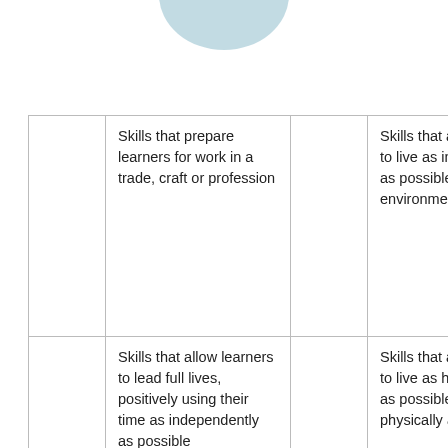[Figure (illustration): Light blue circle partially visible at top center of the page]
|  | Skills that prepare learners for work in a trade, craft or profession |  | Skills that allow learners to live as independently as possible in a home environment |
|  | Skills that allow learners to lead full lives, positively using their time as independently as possible |  | Skills that allow learners to live as healthy lives as possible, both physically and mentally |